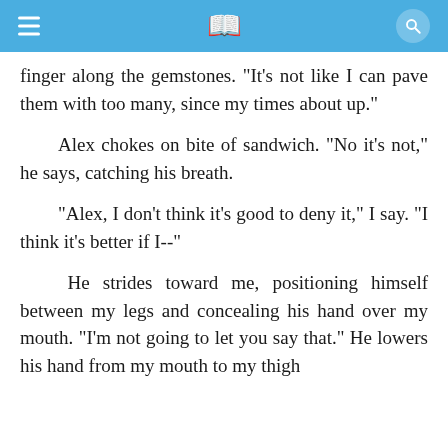≡ 📖 🔍
finger along the gemstones. "It's not like I can pave them with too many, since my times about up."
Alex chokes on bite of sandwich. "No it's not," he says, catching his breath.
"Alex, I don't think it's good to deny it," I say. "I think it's better if I--"
He strides toward me, positioning himself between my legs and concealing his hand over my mouth. "I'm not going to let you say that." He lowers his hand from my mouth to my thigh